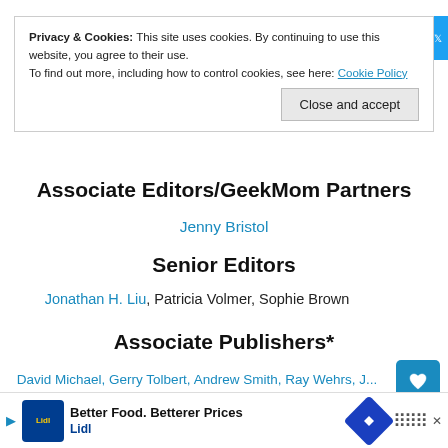Privacy & Cookies: This site uses cookies. By continuing to use this website, you agree to their use.
To find out more, including how to control cookies, see here: Cookie Policy
Close and accept
Associate Editors/GeekMom Partners
Jenny Bristol
Senior Editors
Jonathan H. Liu, Patricia Volmer, Sophie Brown
Associate Publishers*
David Michael, Gerry Tolbert, Andrew Smith, Ray Wehrs, J... Becker, Scott Gaeta, Beth Kee, Joey Mills, talkie, tim, Danny
Better Food. Betterer Prices
Lidl